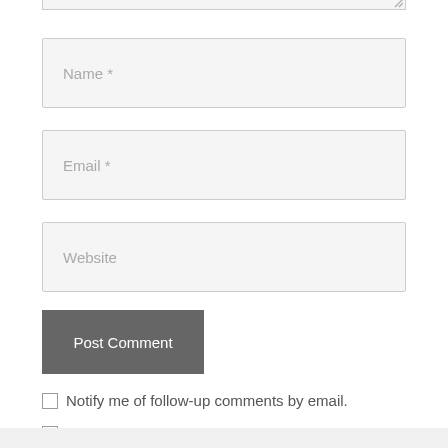[Figure (screenshot): Partial textarea input box visible at the top, clipped at the top edge]
Name *
Email *
Website
Post Comment
Notify me of follow-up comments by email.
Notify me of new posts by email.